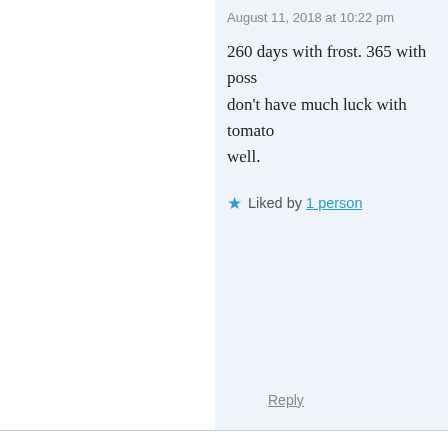August 11, 2018 at 10:22 pm
260 days with frost. 365 with poss don't have much luck with tomato well.
Liked by 1 person
Deb Corcoran says:
August 11, 2018 at 9:33 am
We crack the outer covers up in the back so it reston the up there when it's hot. I have screened B.B. but do NO them an inch or so. We do that with hives in all day sur am in western catskill mtns of NY and it's been HOT a
Like
Reply